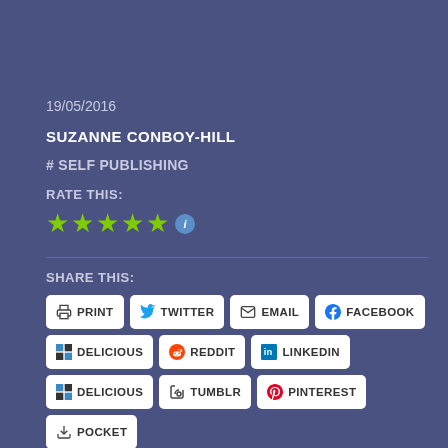19/05/2016
SUZANNE CONBOY-HILL
# SELF PUBLISHING
RATE THIS:
[Figure (other): Five green star rating icons followed by a blue info icon]
SHARE THIS:
[Figure (other): Social share buttons: PRINT, TWITTER, EMAIL, FACEBOOK, DELICIOUS, REDDIT, LINKEDIN, DELICIOUS, TUMBLR, PINTEREST, POCKET]
LIKE THIS:
LOADING...